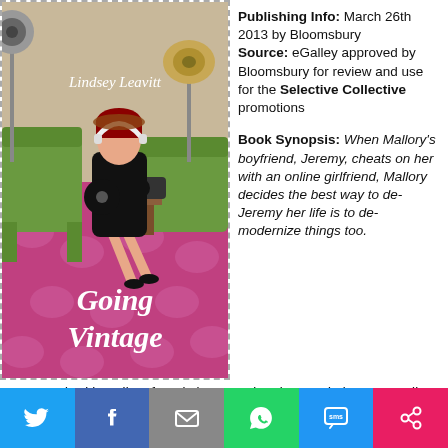[Figure (photo): Book cover of 'Going Vintage' by Lindsey Leavitt. Shows a young woman with headphones sitting on a green retro chair with a vinyl record, on a pink patterned carpet. Title text 'Going Vintage' in white at bottom.]
Publishing Info: March 26th 2013 by Bloomsbury Source: eGalley approved by Bloomsbury for review and use for the Selective Collective promotions
Book Synopsis: When Mallory's boyfriend, Jeremy, cheats on her with an online girlfriend, Mallory decides the best way to de-Jeremy her life is to de-modernize things too. Inspired by a list of goals her grandmother made in1962, Mallory swears off technology and returns to a
[Figure (infographic): Social sharing footer bar with icons for Twitter, Facebook, Email, WhatsApp, SMS, and another sharing option.]